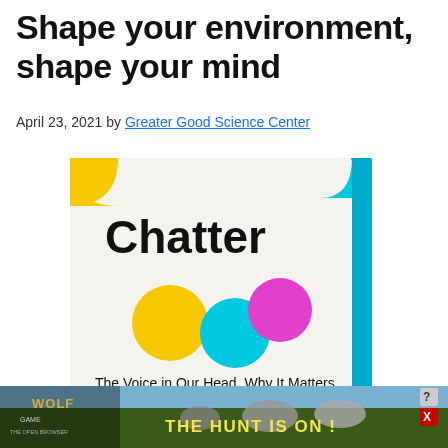Shape your environment, shape your mind
April 23, 2021 by Greater Good Science Center
[Figure (photo): Book cover of 'Chatter: The Voice in Our Head, Why It Matters,' with colorful circles (yellow, cyan, magenta) and a yellow quarter-circle in the top left, cyan partial circle top right, on a cream background. The book spine is bright blue. Below the book cover is an advertisement banner showing wolves in a field with text 'Wolf Game: The Hunt Is On!' and a 'Close X' button overlay.]